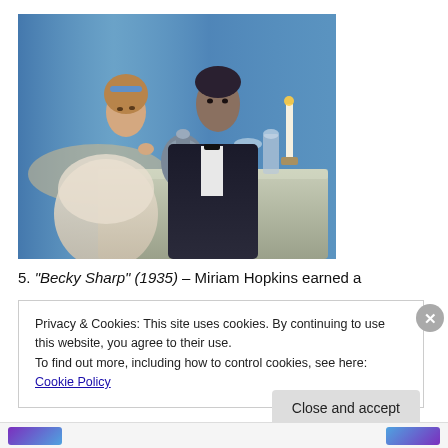[Figure (photo): A period drama scene showing two actors — a woman in a light lacy dress with a blue headband and a man in a dark formal suit — seated at a lavishly set dining table with silver serving pieces, glassware, and candles. The background features blue draped curtains.]
5. "Becky Sharp" (1935) – Miriam Hopkins earned a
Privacy & Cookies: This site uses cookies. By continuing to use this website, you agree to their use.
To find out more, including how to control cookies, see here: Cookie Policy
Close and accept